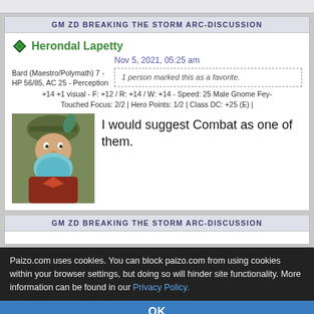GM ZD BREAKING THE STORM ARC-DISCUSSION
Herondal Lapetty
Nov 5, 2021, 05:25 am
Bard (Maestro/Polymath) 7 - HP 56/85, AC 25 - Perception
+14 +1 visual - F: +12 / R: +14 / W: +14 - Speed: 25 Male Gnome Fey-Touched Focus: 2/2 | Hero Points: 1/2 | Class DC: +25 (E) |
1 person marked this as a favorite.
I would suggest Combat as one of them.
GM ZD BREAKING THE STORM ARC-DISCUSSION
Paizo.com uses cookies. You can block paizo.com from using cookies within your browser settings, but doing so will hinder site functionality. More information can be found in our Privacy Policy.
OK